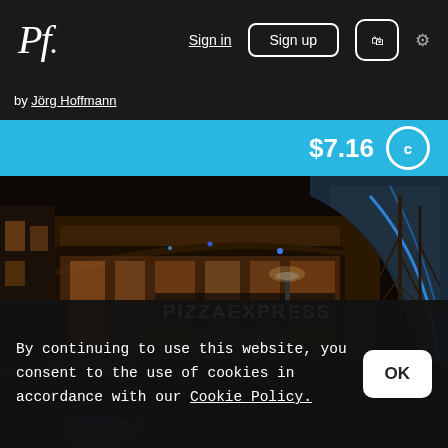Pf. | Sign in | Sign up | 🛒 | ⚙
by Jörg Hoffmann
$7.16
[Figure (photo): Night photo of PizzaExpress restaurant exterior with illuminated signage, parked dark car in foreground, bare trees and modern building architecture visible]
By continuing to use this website, you consent to the use of cookies in accordance with our Cookie Policy.